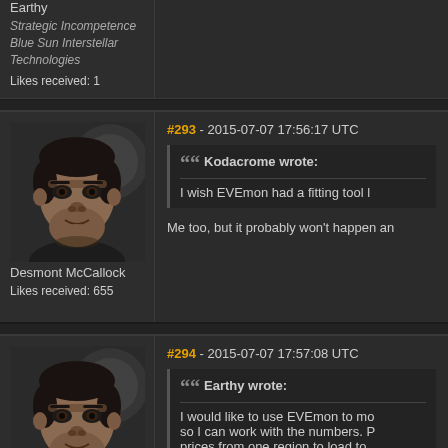Earthy
Strategic Incompetence Blue Sun Interstellar Technologies
Likes received: 1
[Figure (photo): Avatar image of Desmont McCallock, a male character portrait from a sci-fi video game (EVE Online), dark background]
Desmont McCallock
Likes received: 655
#293 - 2015-07-07 17:56:17 UTC
Kodacrome wrote: I wish EVEmon had a fitting tool l
Me too, but it probably won't happen an
[Figure (photo): Avatar image of same male character portrait from EVE Online, dark background]
#294 - 2015-07-07 17:57:08 UTC
Earthy wrote: I would like to use EVEmon to mo so I can work with the numbers. prices from one region to load to